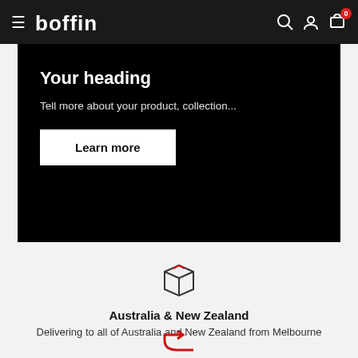boffin — navigation bar with hamburger menu, logo, search, account, and cart (0 items)
Your heading
Tell more about your product, collection...
Learn more
[Figure (illustration): Package/box icon with red lines on top]
Australia & New Zealand
Delivering to all of Australia and New Zealand from Melbourne